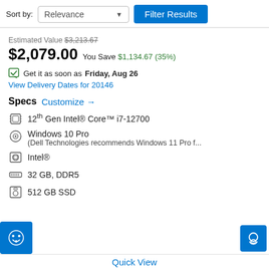Sort by:
Relevance ▼
Filter Results
Estimated Value $3,213.67
$2,079.00 You Save $1,134.67 (35%)
Get it as soon as Friday, Aug 26
View Delivery Dates for 20146
Specs Customize →
12th Gen Intel® Core™ i7-12700
Windows 10 Pro (Dell Technologies recommends Windows 11 Pro f...
Intel®
32 GB, DDR5
512 GB SSD
Quick View